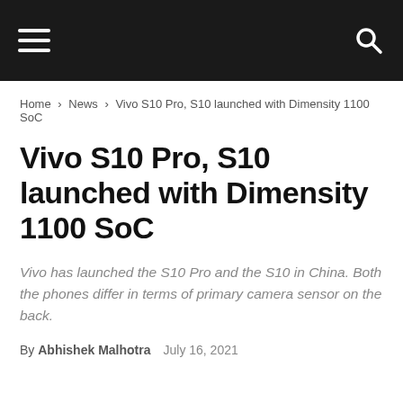☰  🔍
Home › News › Vivo S10 Pro, S10 launched with Dimensity 1100 SoC
Vivo S10 Pro, S10 launched with Dimensity 1100 SoC
Vivo has launched the S10 Pro and the S10 in China. Both the phones differ in terms of primary camera sensor on the back.
By Abhishek Malhotra   July 16, 2021